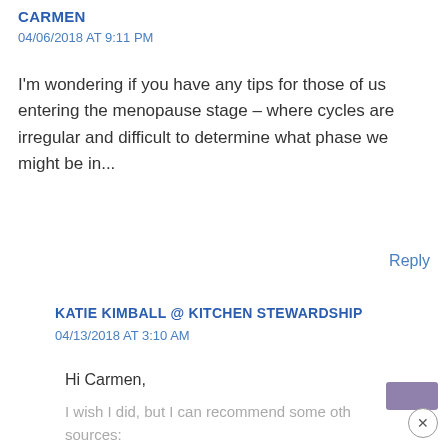CARMEN
04/06/2018 AT 9:11 PM
I'm wondering if you have any tips for those of us entering the menopause stage – where cycles are irregular and difficult to determine what phase we might be in...
Reply
KATIE KIMBALL @ KITCHEN STEWARDSHIP
04/13/2018 AT 3:10 AM
Hi Carmen,
I wish I did, but I can recommend some other sources: